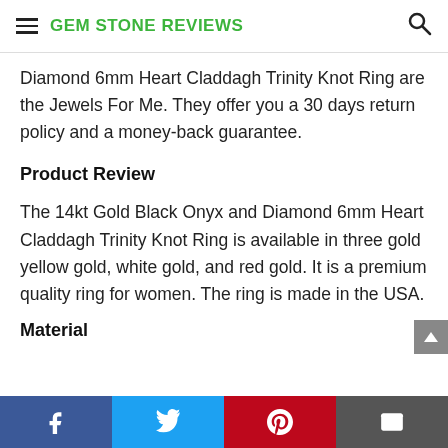GEM STONE REVIEWS
Diamond 6mm Heart Claddagh Trinity Knot Ring are the Jewels For Me. They offer you a 30 days return policy and a money-back guarantee.
Product Review
The 14kt Gold Black Onyx and Diamond 6mm Heart Claddagh Trinity Knot Ring is available in three gold yellow gold, white gold, and red gold. It is a premium quality ring for women. The ring is made in the USA.
Material